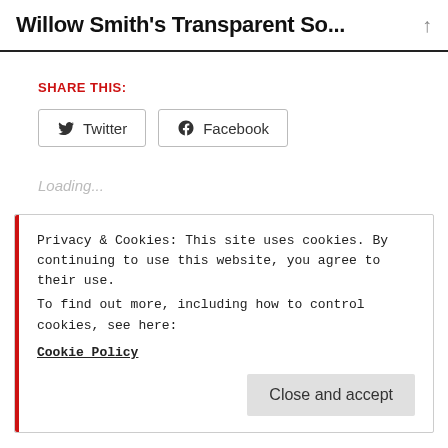Willow Smith's Transparent So...
SHARE THIS:
Twitter  Facebook
Loading...
Privacy & Cookies: This site uses cookies. By continuing to use this website, you agree to their use.
To find out more, including how to control cookies, see here:
Cookie Policy
Close and accept
Meet the Maker: Seth Baccus Guitars